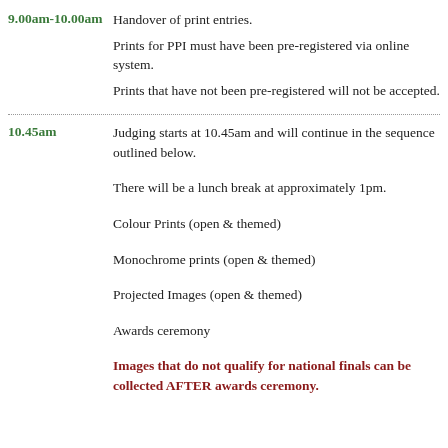9.00am-10.00am: Handover of print entries. Prints for PPI must have been pre-registered via online system. Prints that have not been pre-registered will not be accepted.
10.45am: Judging starts at 10.45am and will continue in the sequence outlined below. There will be a lunch break at approximately 1pm. Colour Prints (open & themed). Monochrome prints (open & themed). Projected Images (open & themed). Awards ceremony. Images that do not qualify for national finals can be collected AFTER awards ceremony.